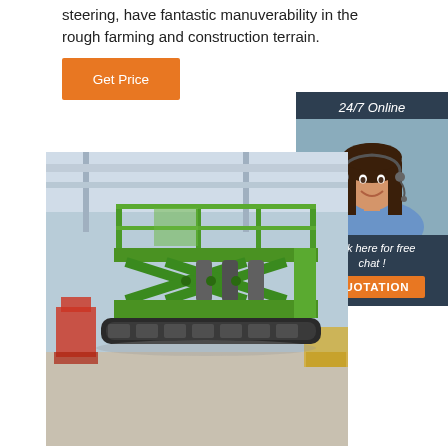steering, have fantastic manuverability in the rough farming and construction terrain.
[Figure (other): Orange 'Get Price' button]
[Figure (other): 24/7 Online sidebar with customer service agent photo, 'Click here for free chat!' text, and orange QUOTATION button]
[Figure (photo): Green scissor lift machine in an industrial warehouse setting]